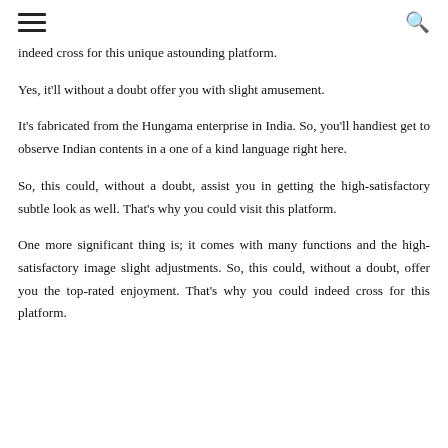≡  🔍
indeed cross for this unique astounding platform.
Yes, it'll without a doubt offer you with slight amusement.
It's fabricated from the Hungama enterprise in India. So, you'll handiest get to observe Indian contents in a one of a kind language right here.
So, this could, without a doubt, assist you in getting the high-satisfactory subtle look as well. That's why you could visit this platform.
One more significant thing is; it comes with many functions and the high-satisfactory image slight adjustments. So, this could, without a doubt, offer you the top-rated enjoyment. That's why you could indeed cross for this platform.